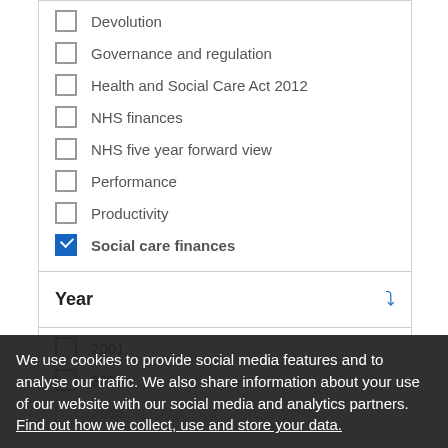Devolution
Governance and regulation
Health and Social Care Act 2012
NHS finances
NHS five year forward view
Performance
Productivity
Social care finances (checked)
Year
2001
2005
2006
2008
2009
We use cookies to provide social media features and to analyse our traffic. We also share information about your use of our website with our social media and analytics partners. Find out how we collect, use and store your data.